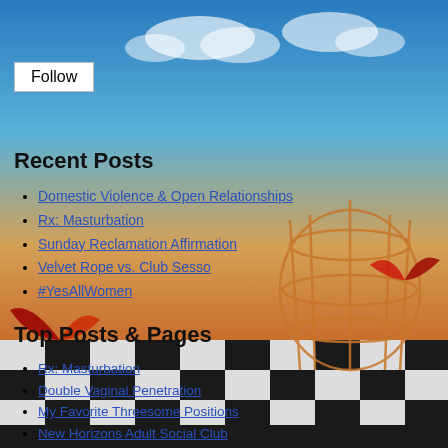[Figure (illustration): Surrealist painting background showing a bird cage with butterflies on a checkered floor under a sky with clouds, warm orange/brown tones at bottom.]
Follow
Recent Posts
Domestic Violence & Open Relationships
Rx: Masturbation
Sunday Reclamation Affirmation
Velvet Rope vs. Club Sesso
#YesAllWomen
Top Posts & Pages
Rx: Masturbation
Double Vaginal Penetration
My Favorite Threesome Positions
New Horizons Adult Social Club
Hotwife Ethics
Velvet Rope vs. Club Sesso
Resources
Hotwifing - Demoing & Trends
An Insiders Guide to Hotwifing and Cuckolding
Domestic Violence & Open Relationships